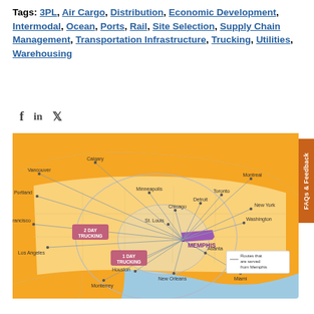Tags: 3PL, Air Cargo, Distribution, Economic Development, Intermodal, Ocean, Ports, Rail, Site Selection, Supply Chain Management, Transportation Infrastructure, Trucking, Utilities, Warehousing
[Figure (map): Map of North America centered on Memphis, Tennessee showing distribution routes radiating out to major cities. Labels include Vancouver, Calgary, Portland, San Francisco, Los Angeles, Monterrey, Minneapolis, Chicago, St. Louis, Dallas, Houston, New Orleans, Detroit, Toronto, Montreal, New York, Washington, Atlanta, Miami. Shows '2 Day Trucking' and '1 Day Trucking' radius zones around Memphis. Tennessee is highlighted in purple/magenta. Legend reads 'Routes that are served from Memphis'.]